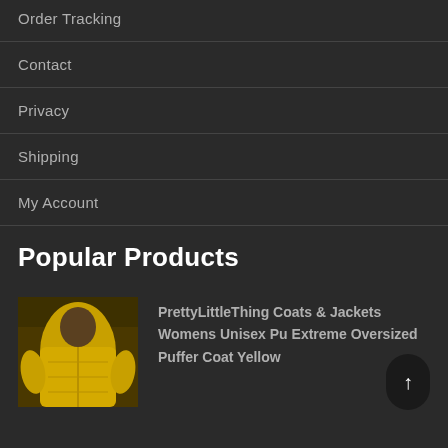Order Tracking
Contact
Privacy
Shipping
My Account
Popular Products
[Figure (photo): Product photo of a woman wearing a yellow oversized puffer coat]
PrettyLittleThing Coats & Jackets Womens Unisex Pu Extreme Oversized Puffer Coat Yellow